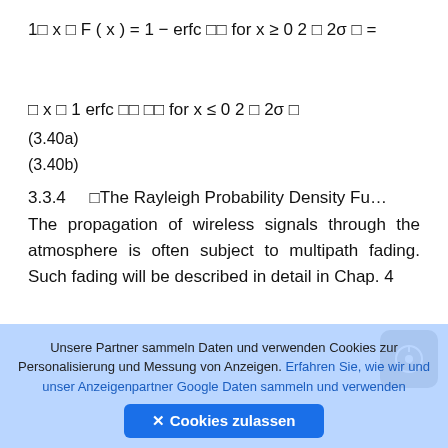(3.40a)
(3.40b)
3.3.4    ■The Rayleigh Probability Density Fu...
The propagation of wireless signals through the atmosphere is often subject to multipath fading. Such fading will be described in detail in Chap. 4